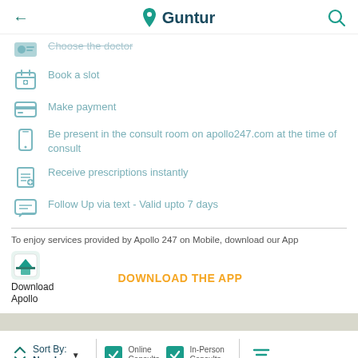← Guntur 🔍
Choose the doctor
Book a slot
Make payment
Be present in the consult room on apollo247.com at the time of consult
Receive prescriptions instantly
Follow Up via text - Valid upto 7 days
To enjoy services provided by Apollo 247 on Mobile, download our App
[Figure (logo): Download Apollo app icon]
Download Apollo
DOWNLOAD THE APP
Sort By: Nearby ▼ | ✓ Online Consults ✓ In-Person Consults | Filter